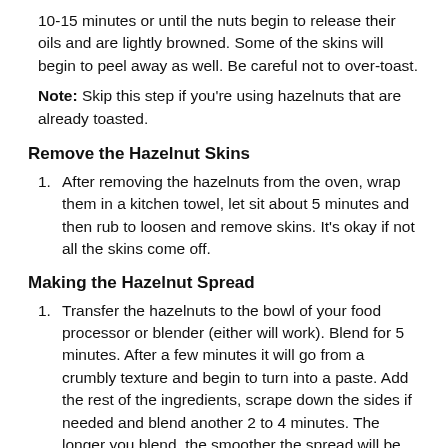10-15 minutes or until the nuts begin to release their oils and are lightly browned. Some of the skins will begin to peel away as well. Be careful not to over-toast.
Note: Skip this step if you're using hazelnuts that are already toasted.
Remove the Hazelnut Skins
After removing the hazelnuts from the oven, wrap them in a kitchen towel, let sit about 5 minutes and then rub to loosen and remove skins. It's okay if not all the skins come off.
Making the Hazelnut Spread
Transfer the hazelnuts to the bowl of your food processor or blender (either will work). Blend for 5 minutes. After a few minutes it will go from a crumbly texture and begin to turn into a paste. Add the rest of the ingredients, scrape down the sides if needed and blend another 2 to 4 minutes. The longer you blend, the smoother the spread will be.